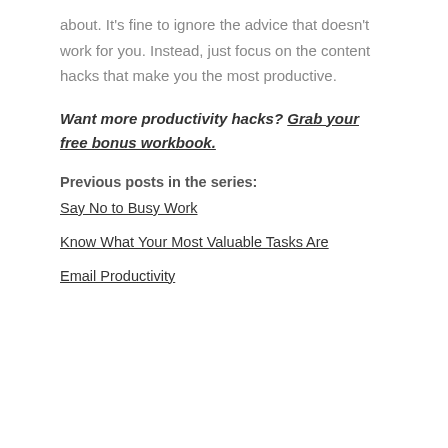about. It's fine to ignore the advice that doesn't work for you. Instead, just focus on the content hacks that make you the most productive.
Want more productivity hacks? Grab your free bonus workbook.
Previous posts in the series:
Say No to Busy Work
Know What Your Most Valuable Tasks Are
Email Productivity